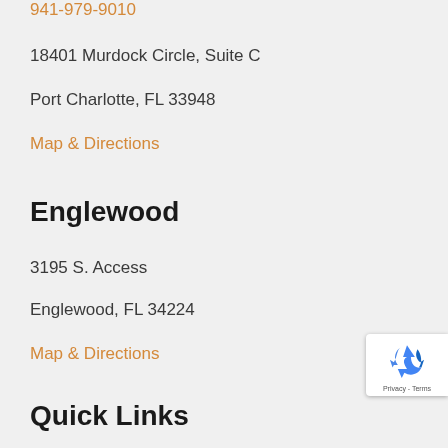941-979-9010
18401 Murdock Circle, Suite C
Port Charlotte, FL 33948
Map & Directions
Englewood
3195 S. Access
Englewood, FL 34224
Map & Directions
[Figure (logo): Google reCAPTCHA badge with recycling arrows icon and Privacy - Terms text]
Quick Links